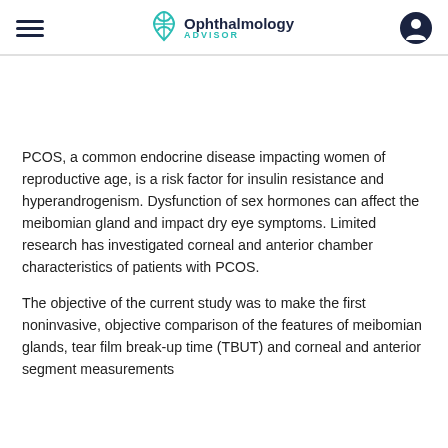Ophthalmology ADVISOR
PCOS, a common endocrine disease impacting women of reproductive age, is a risk factor for insulin resistance and hyperandrogenism. Dysfunction of sex hormones can affect the meibomian gland and impact dry eye symptoms. Limited research has investigated corneal and anterior chamber characteristics of patients with PCOS.
The objective of the current study was to make the first noninvasive, objective comparison of the features of meibomian glands, tear film break-up time (TBUT) and corneal and anterior segment measurements